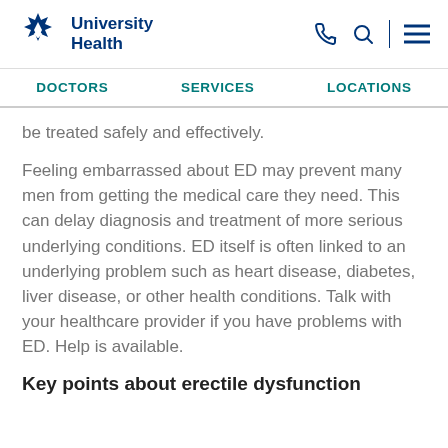[Figure (logo): University Health logo with star/snowflake icon in navy blue and text 'University Health']
DOCTORS   SERVICES   LOCATIONS
be treated safely and effectively.
Feeling embarrassed about ED may prevent many men from getting the medical care they need. This can delay diagnosis and treatment of more serious underlying conditions. ED itself is often linked to an underlying problem such as heart disease, diabetes, liver disease, or other health conditions. Talk with your healthcare provider if you have problems with ED. Help is available.
Key points about erectile dysfunction